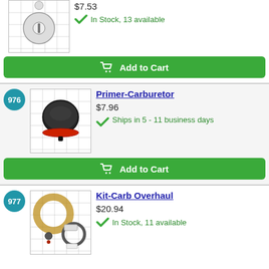[Figure (photo): Product image of a small circular part on grid background, partial view at top of page]
$7.53
In Stock, 13 available
Add to Cart
976
[Figure (photo): Product image of a carburetor primer bulb (black dome with red ring) on grid background]
Primer-Carburetor
$7.96
Ships in 5 - 11 business days
Add to Cart
977
[Figure (photo): Product image of carburetor overhaul kit with gaskets and rings on grid background]
Kit-Carb Overhaul
$20.94
In Stock, 11 available